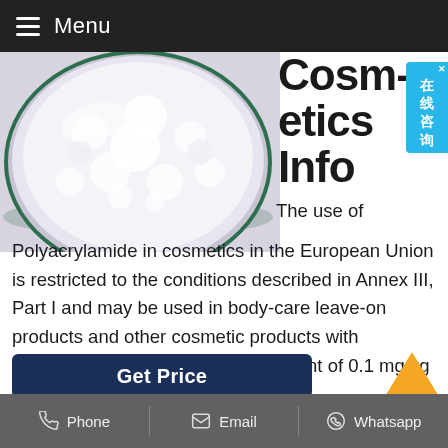Menu
[Figure (photo): White powder in a glass petri dish on a light purple/lavender background — product photo of Polyacrylamide]
Cosmetics Info
The use of Polyacrylamide in cosmetics in the European Union is restricted to the conditions described in Annex III, Part I and may be used in body-care leave-on products and other cosmetic products with maximum residual acrylamide content of 0.1 mg/kg and 0.5 mg/kg, respectively.
Phone   Email   Whatsapp